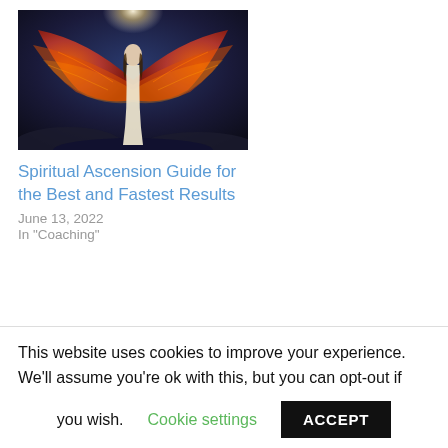[Figure (illustration): Fantasy illustration of an angel/phoenix figure in a white dress with large fiery orange wings, glowing light above, dark moody rocky background]
Spiritual Ascension Guide for the Best and Fastest Results
June 13, 2022
In "Coaching"
TAGS: CONSCIOUSNESS, FOCUS, HIGHER VIBRATIONS, MIND HACK, WHY I LIKE EVERYTHING
This website uses cookies to improve your experience. We'll assume you're ok with this, but you can opt-out if you wish. Cookie settings ACCEPT